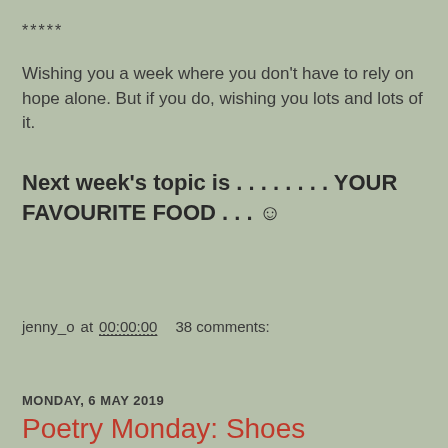*****
Wishing you a week where you don't have to rely on hope alone. But if you do, wishing you lots and lots of it.
Next week's topic is . . . . . . . . YOUR FAVOURITE FOOD . . . ☺
jenny_o at 00:00:00   38 comments:
Share
MONDAY, 6 MAY 2019
Poetry Monday: Shoes